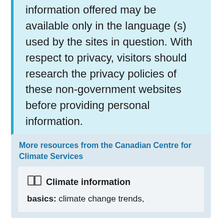information offered may be available only in the language(s) used by the sites in question. With respect to privacy, visitors should research the privacy policies of these non-government websites before providing personal information.
More resources from the Canadian Centre for Climate Services
Climate information basics: climate change trends,